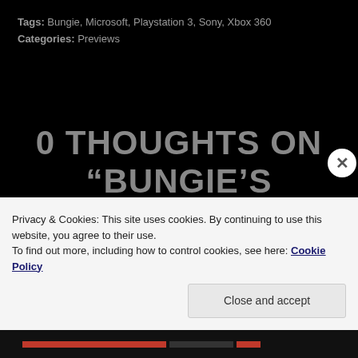Tags: Bungie, Microsoft, Playstation 3, Sony, Xbox 360
Categories: Previews
0 THOUGHTS ON “BUNGIE’S DESTINY REVEALED”
BEASTLYRIG
Privacy & Cookies: This site uses cookies. By continuing to use this website, you agree to their use.
To find out more, including how to control cookies, see here: Cookie Policy
Close and accept